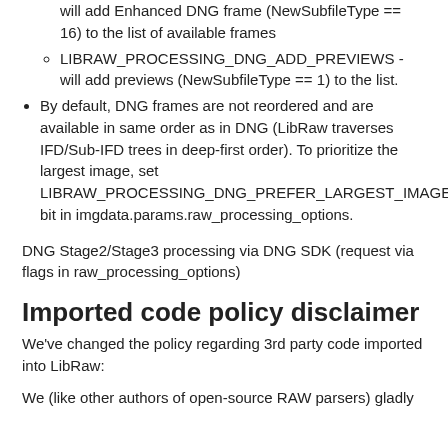will add Enhanced DNG frame (NewSubfileType == 16) to the list of available frames
LIBRAW_PROCESSING_DNG_ADD_PREVIEWS - will add previews (NewSubfileType == 1) to the list.
By default, DNG frames are not reordered and are available in same order as in DNG (LibRaw traverses IFD/Sub-IFD trees in deep-first order). To prioritize the largest image, set LIBRAW_PROCESSING_DNG_PREFER_LARGEST_IMAGE bit in imgdata.params.raw_processing_options.
DNG Stage2/Stage3 processing via DNG SDK (request via flags in raw_processing_options)
Imported code policy disclaimer
We've changed the policy regarding 3rd party code imported into LibRaw:
We (like other authors of open-source RAW parsers) gladly